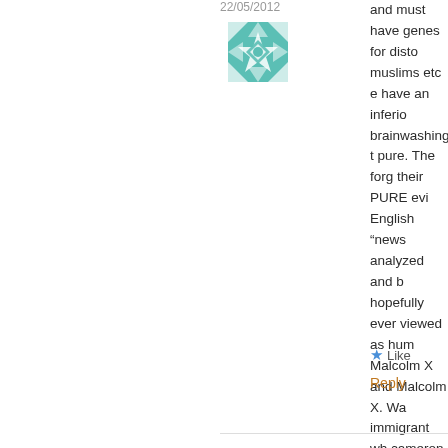22/05/2012
[Figure (illustration): Teal geometric quilt/tile pattern avatar icon]
and must have genes for disto muslims etc e have an inferio brainwashing t pure. The forg their PURE evi English “news analyzed and b hopefully ever viewed as hum Malcolm X and Malcolm X. Wa immigrant wh cameron. No r
Like
Reply